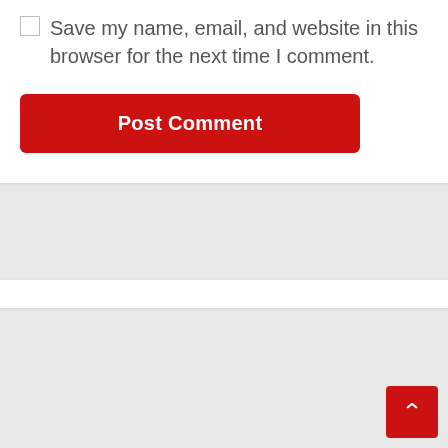Save my name, email, and website in this browser for the next time I comment.
Post Comment
[Figure (illustration): Book cover with orange/yellow background showing the word 'Change' in large blue text, with white subtitle text: 'Shift from static to dynamic; create new paradigms, new possibilities; conquer new frontiers', and a blue circle at the bottom.]